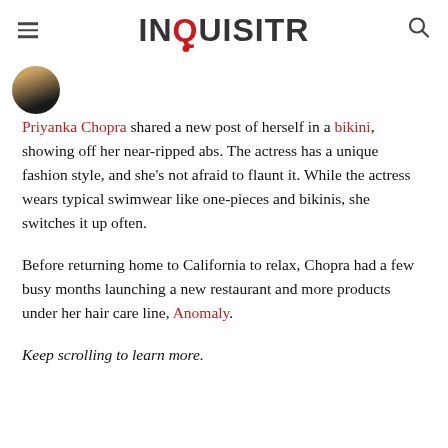INQUISITR
[Figure (photo): Partial circular avatar/profile image visible at top left below header]
Priyanka Chopra shared a new post of herself in a bikini, showing off her near-ripped abs. The actress has a unique fashion style, and she's not afraid to flaunt it. While the actress wears typical swimwear like one-pieces and bikinis, she switches it up often.
Before returning home to California to relax, Chopra had a few busy months launching a new restaurant and more products under her hair care line, Anomaly.
Keep scrolling to learn more.